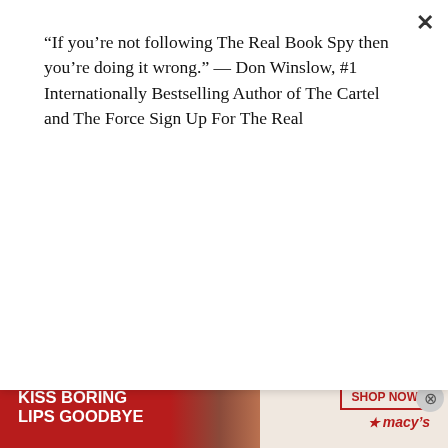“If you’re not following The Real Book Spy then you’re doing it wrong.” — Don Winslow, #1 Internationally Bestselling Author of The Cartel and The Force Sign Up For The Real
Subscribe
out of that window.  I’ve done an enormous amount of studying up on police procedural for my Louise Rick series, and for this American-set series, I’ve researched the undertaking industry (which has been super-fascinating!), and especially the differences in the laws and regulations from country to country and even state to state sometimes.  I’ve learned so much and ha
Advertisements
[Figure (photo): Advertisement banner: red background on left side with white bold text reading KISS BORING LIPS GOODBYE. Right side shows a woman’s face with red lipstick. Shop Now button with Macy’s logo on the right.]